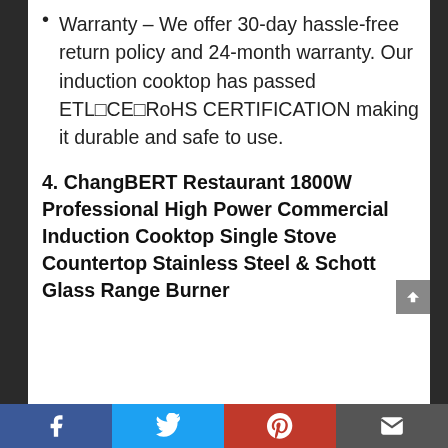Warranty – We offer 30-day hassle-free return policy and 24-month warranty. Our induction cooktop has passed ETL□CE□RoHS CERTIFICATION making it durable and safe to use.
4. ChangBERT Restaurant 1800W Professional High Power Commercial Induction Cooktop Single Stove Countertop Stainless Steel & Schott Glass Range Burner